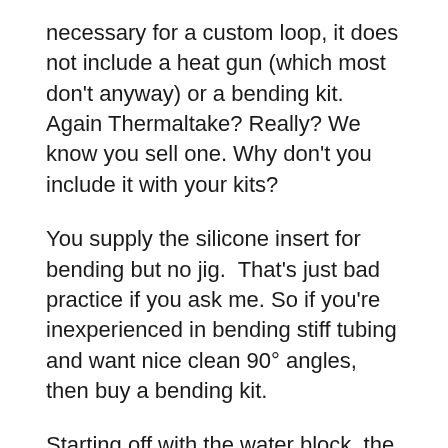necessary for a custom loop, it does not include a heat gun (which most don't anyway) or a bending kit. Again Thermaltake? Really? We know you sell one. Why don't you include it with your kits?
You supply the silicone insert for bending but no jig.  That's just bad practice if you ask me. So if you're inexperienced in bending stiff tubing and want nice clean 90° angles, then buy a bending kit.
Starting off with the water block, the Pacific W3 is simple yet elegant. It has no RGB but is made out of clear acrylic, so you'll be able to see the coolant flowing through it. With a machined